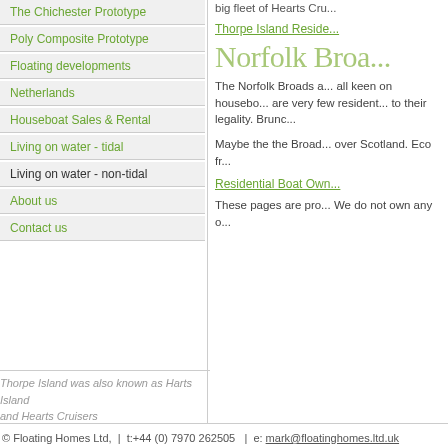The Chichester Prototype
Poly Composite Prototype
Floating developments
Netherlands
Houseboat Sales & Rental
Living on water - tidal
Living on water - non-tidal
About us
Contact us
big fleet of Hearts Cru...
Thorpe Island Reside...
Norfolk Broa...
The Norfolk Broads a... all keen on housebo... are very few resident... to their legality. Brunc...
Maybe the the Broad... over Scotland. Eco fr...
Residential Boat Own...
These pages are pro... We do not own any o...
Thorpe Island was also known as Harts Island and Hearts Cruisers
© Floating Homes Ltd,  |  t:+44 (0) 7970 262505   |  e: mark@floatinghomes.ltd.uk